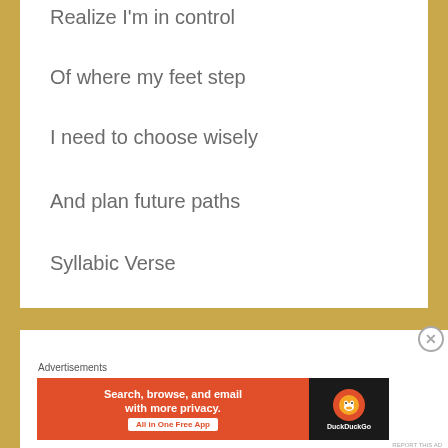Realize I'm in control
Of where my feet step
I need to choose wisely
And plan future paths
Syllabic Verse
Advertisements
[Figure (screenshot): DuckDuckGo advertisement banner: orange background with text 'Search, browse, and email with more privacy. All in One Free App' and DuckDuckGo logo on dark right panel]
REPORT THIS AD